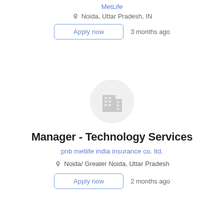MetLife
Noida, Uttar Pradesh, IN
Apply now
3 months ago
[Figure (logo): Company building logo icon in a light grey circle]
Manager - Technology Services
pnb metlife india insurance co. ltd.
Noida/ Greater Noida, Uttar Pradesh
Apply now
2 months ago